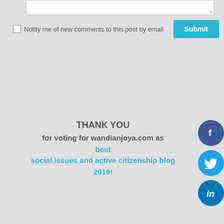[Figure (screenshot): Text area input box with resize handle]
Notify me of new comments to this post by email
Submit
THANK YOU
for voting for wandianjoya.com as best
social issues and active citizenship blog
2019!
[Figure (illustration): Facebook, Twitter, LinkedIn social media icon circles on right side]